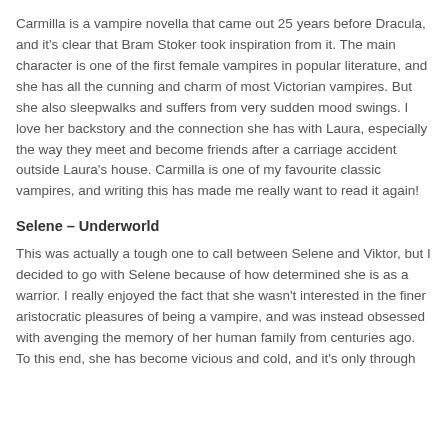Carmilla is a vampire novella that came out 25 years before Dracula, and it's clear that Bram Stoker took inspiration from it. The main character is one of the first female vampires in popular literature, and she has all the cunning and charm of most Victorian vampires. But she also sleepwalks and suffers from very sudden mood swings. I love her backstory and the connection she has with Laura, especially the way they meet and become friends after a carriage accident outside Laura's house. Carmilla is one of my favourite classic vampires, and writing this has made me really want to read it again!
Selene – Underworld
This was actually a tough one to call between Selene and Viktor, but I decided to go with Selene because of how determined she is as a warrior. I really enjoyed the fact that she wasn't interested in the finer aristocratic pleasures of being a vampire, and was instead obsessed with avenging the memory of her human family from centuries ago. To this end, she has become vicious and cold, and it's only through